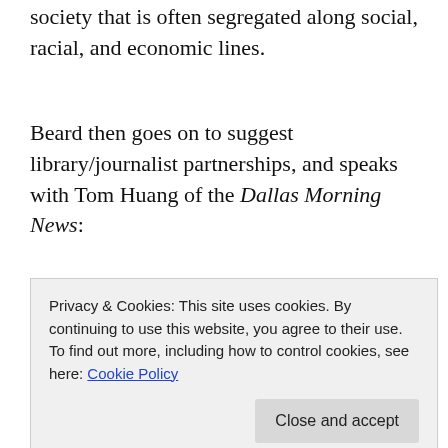society that is often segregated along social, racial, and economic lines.
Beard then goes on to suggest library/journalist partnerships, and speaks with Tom Huang of the Dallas Morning News:
[Figure (other): Advertisement banner: 'ThePlatform Where WordPress Works Best' with Pressable logo]
“In areas not served by traditional news outlets, libraries, already trusted by the community, could become a hub for
Privacy & Cookies: This site uses cookies. By continuing to use this website, you agree to their use. To find out more, including how to control cookies, see here: Cookie Policy
these are beginning steps to journalism, not involved